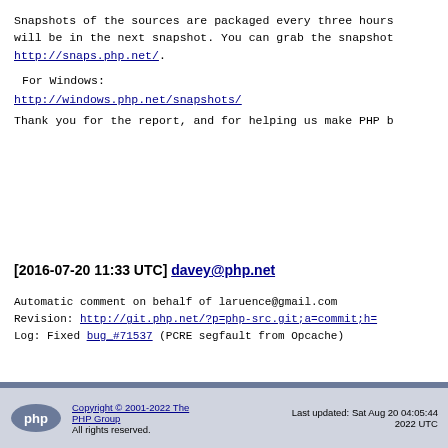Snapshots of the sources are packaged every three hours will be in the next snapshot. You can grab the snapshot http://snaps.php.net/.
For Windows:
http://windows.php.net/snapshots/
Thank you for the report, and for helping us make PHP b
[2016-07-20 11:33 UTC] davey@php.net
Automatic comment on behalf of laruence@gmail.com
Revision: http://git.php.net/?p=php-src.git;a=commit;h=
Log: Fixed bug_#71537 (PCRE segfault from Opcache)
Copyright © 2001-2022 The PHP Group
All rights reserved.
Last updated: Sat Aug 20 04:05:44 2022 UTC